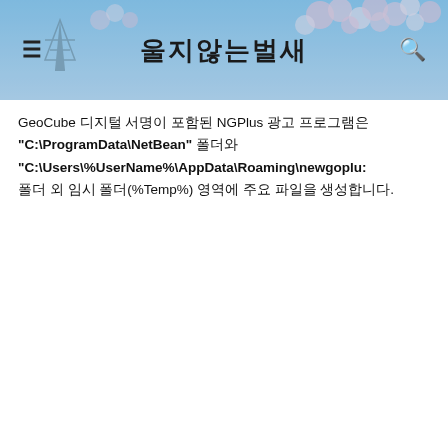[Figure (screenshot): Blog header banner with Korean title '울지않는벌새' (The Hummingbird That Doesn't Cry), cherry blossoms and electrical tower background, hamburger menu icon on left, search icon on right]
GeoCube 디지털 서명이 포함된 NGPlus 광고 프로그램은 "C:\ProgramData\NetBean" 폴더와 "C:\Users\%UserName%\AppData\Roaming\newgoplu: 폴더 외 임시 폴더(%Temp%) 영역에 주요 파일을 생성합니다.
[Figure (screenshot): Windows service properties dialog showing 'Windows Application Object Service' with tabs: 일반, 로그온, 복구, 종속성. Fields: 서비스 이름 (highlighted in blue: Windows Application Object Service), 표시 이름, 설명 (Windows Application Object Event Service), 실행 파일 경로 (C:\ProgramData\NetBean\sppobjs.exe), 시작 유형(T): 자동]